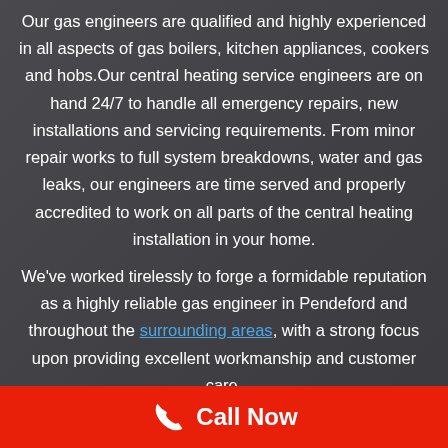Our gas engineers are qualified and highly experienced in all aspects of gas boilers, kitchen appliances, cookers and hobs.Our central heating service engineers are on hand 24/7 to handle all emergency repairs, new installations and servicing requirements. From minor repair works to full system breakdowns, water and gas leaks, our engineers are time served and properly accredited to work on all parts of the central heating installation in your home.

We've worked tirelessly to forge a formidable reputation as a highly reliable gas engineer in Pendeford and throughout the surrounding areas, with a strong focus upon providing excellent workmanship and customer care.
Call Now